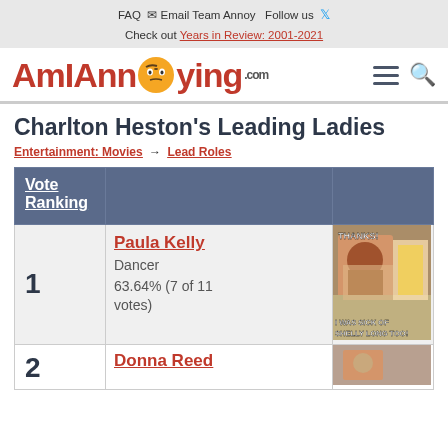FAQ  Email Team Annoy  Follow us
Check out Years in Review: 2001-2021
[Figure (logo): AmlAnnoying.com logo with angry emoji face, hamburger menu icon and search icon]
Charlton Heston's Leading Ladies
Entertainment: Movies → Lead Roles
| Vote Ranking |  |  |
| --- | --- | --- |
| 1 | Paula Kelly
Dancer
63.64% (7 of 11 votes) | [image] |
| 2 | Donna Reed | [image] |